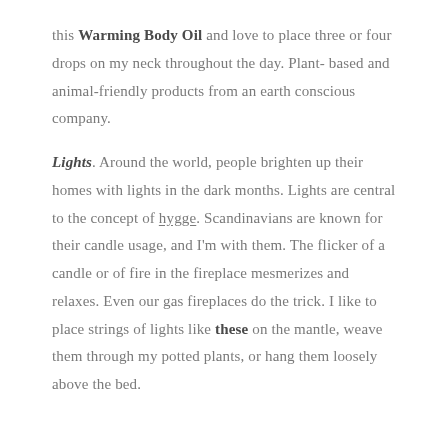this Warming Body Oil and love to place three or four drops on my neck throughout the day. Plant-based and animal-friendly products from an earth conscious company.
Lights. Around the world, people brighten up their homes with lights in the dark months. Lights are central to the concept of hygge. Scandinavians are known for their candle usage, and I'm with them. The flicker of a candle or of fire in the fireplace mesmerizes and relaxes. Even our gas fireplaces do the trick. I like to place strings of lights like these on the mantle, weave them through my potted plants, or hang them loosely above the bed.